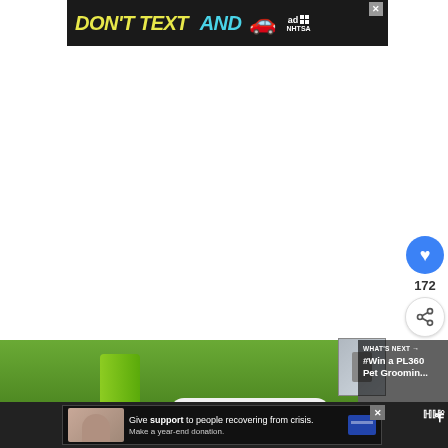[Figure (screenshot): NHTSA 'Don't Text and Drive' advertisement banner with yellow and white bold italic text on dark background with red car emoji and ad/NHTSA badge]
[Figure (infographic): Social interaction sidebar with blue heart/like button showing 172 likes and a share button]
[Figure (photo): Photo of pet grooming products (white bottle with green cap) on green grass background]
[Figure (screenshot): What's Next panel showing thumbnail and text '#Win a PL360 Pet Groomin...' preview]
[Figure (screenshot): Bottom advertisement: Give support to people recovering from crisis. Make a year-end donation. With close button and credit card icon]